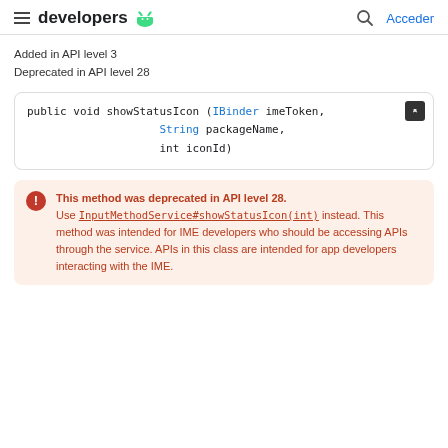developers  Acceder
Added in API level 3
Deprecated in API level 28
This method was deprecated in API level 28. Use InputMethodService#showStatusIcon(int) instead. This method was intended for IME developers who should be accessing APIs through the service. APIs in this class are intended for app developers interacting with the IME.